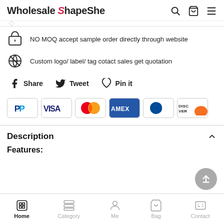Wholesale ShapeShe
NO MOQ accept sample order directly through website
Custom logo/ label/ tag cotact sales get quotation
Share  Tweet  Pin it
[Figure (other): Payment method icons: PayPal, Visa, Mastercard, Amex, Diners Club, Discover]
Description
Features:
Home  Category  Me  Bag  Contact